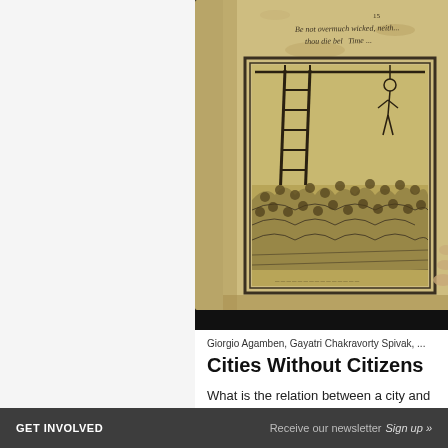[Figure (photo): Close-up photograph of an old, worn book open to a page showing an antique woodcut illustration of a ladder leading into a crowd of figures, with handwritten text at the top reading 'Be not overmuch wicked, neither... thou die before thy Time...']
Giorgio Agamben, Gayatri Chakravorty Spivak, ...
Cities Without Citizens
What is the relation between a city and its...
GET INVOLVED    Receive our newsletter    Sign up »